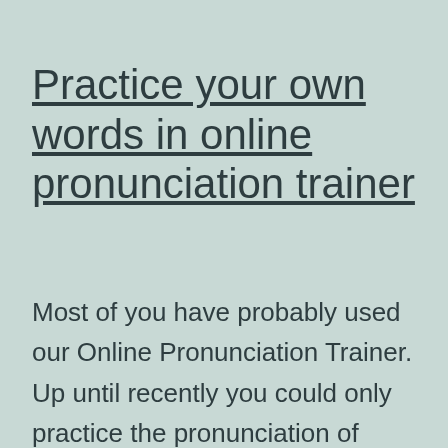Practice your own words in online pronunciation trainer
Most of you have probably used our Online Pronunciation Trainer. Up until recently you could only practice the pronunciation of words containing a given sound, a combination of sounds or a combination of letters. Now you can also practice the pronunciation of your own words. To help that, we list...